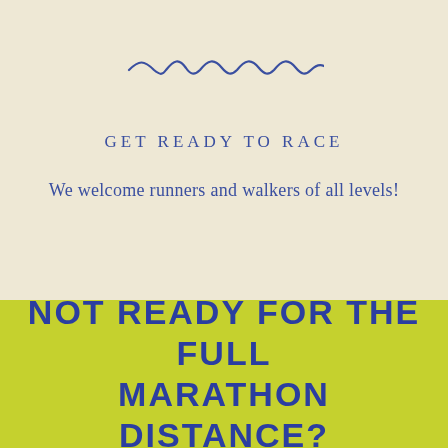[Figure (illustration): A decorative wavy/squiggly horizontal line in dark blue color, centered on the cream background section]
GET READY TO RACE
We welcome runners and walkers of all levels!
NOT READY FOR THE FULL MARATHON DISTANCE?